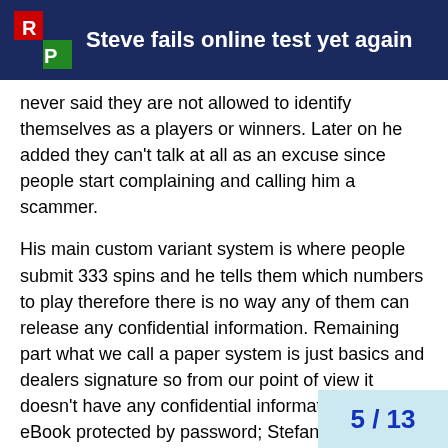Steve fails online test yet again
never said they are not allowed to identify themselves as a players or winners. Later on he added they can't talk at all as an excuse since people start complaining and calling him a scammer.
His main custom variant system is where people submit 333 spins and he tells them which numbers to play therefore there is no way any of them can release any confidential information. Remaining part what we call a paper system is just basics and dealers signature so from our point of view it doesn't have any confidential information. It was an eBook protected by password; Stefano was also inserting buyer's information in each document so he can track them down if they share it with the others. Each system has buyers name hidden behind images.
When documents as that come around he claimed it is not real but only a part of his system he released for people who he doesn't trust.
According to Stefano if someone buys GW...
5 / 13